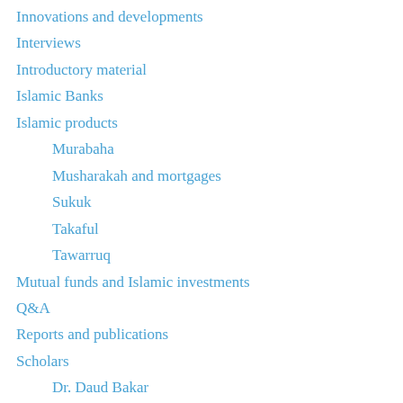Innovations and developments
Interviews
Introductory material
Islamic Banks
Islamic products
Murabaha
Musharakah and mortgages
Sukuk
Takaful
Tawarruq
Mutual funds and Islamic investments
Q&A
Reports and publications
Scholars
Dr. Daud Bakar
Dr. Hussein Hamid Hassan
Mufti Taqi Usmani
Sheikh Abdul Sattar Abu Ghudda
Sheikh Nizam Yaquby
Sheikh Taha Abdul-Basser